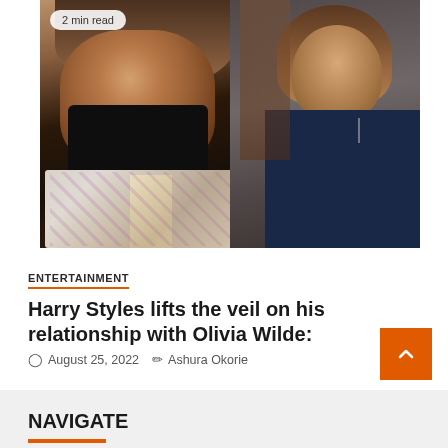[Figure (photo): Photo of Harry Styles wearing a black face mask and colorful floral shirt, with Olivia Wilde visible behind him in a dark navy top, both appearing to exit a venue. A '2 min read' badge appears in the top-left corner of the image.]
ENTERTAINMENT
Harry Styles lifts the veil on his relationship with Olivia Wilde:
August 25, 2022   Ashura Okorie
NAVIGATE